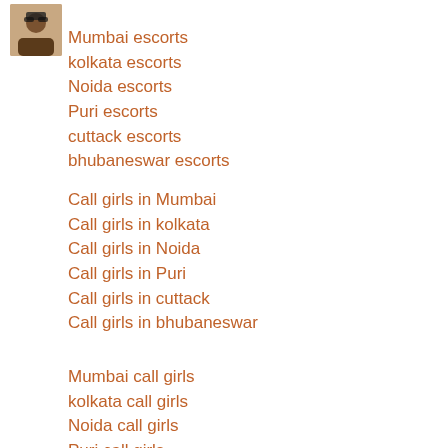[Figure (photo): Small avatar/profile photo of a person wearing sunglasses, positioned in top-left corner]
Mumbai escorts
kolkata escorts
Noida escorts
Puri escorts
cuttack escorts
bhubaneswar escorts
Call girls in Mumbai
Call girls in kolkata
Call girls in Noida
Call girls in Puri
Call girls in cuttack
Call girls in bhubaneswar
Mumbai call girls
kolkata call girls
Noida call girls
Puri call girls
cuttack call girls
bhubaneswar call girls